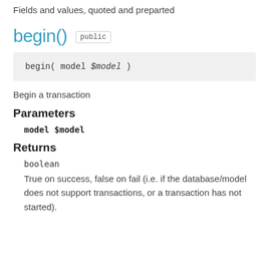Fields and values, quoted and preparted
begin()  public
begin( model $model )
Begin a transaction
Parameters
model $model
Returns
boolean
True on success, false on fail (i.e. if the database/model does not support transactions, or a transaction has not started).